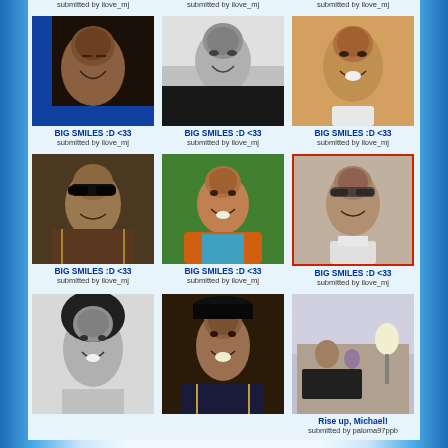submitted by ilove_mj
submitted by ilove_mj
submitted by ilove_mj
[Figure (photo): Michael Jackson laughing with head back, colorful stage background]
[Figure (photo): Michael Jackson black and white portrait smiling]
[Figure (photo): Michael Jackson smiling close-up color photo]
BIG SMILES :D <33
submitted by ilove_mj
BIG SMILES :D <33
submitted by ilove_mj
BIG SMILES :D <33
submitted by ilove_mj
[Figure (photo): Michael Jackson in military jacket with sunglasses]
[Figure (photo): Michael Jackson in orange leather jacket smiling]
[Figure (photo): Michael Jackson with glasses smiling indoors, red border]
BIG SMILES :D <33
submitted by ilove_mj
BIG SMILES :D <33
submitted by ilove_mj
BIG SMILES :D <33
submitted by ilove_mj
[Figure (photo): Young Michael Jackson as child black and white photo with afro]
[Figure (photo): Michael Jackson in hat and military costume smiling]
[Figure (photo): Michael Jackson with child at piano in room]
Rise up, Michael!
submitted by paloma97ppb